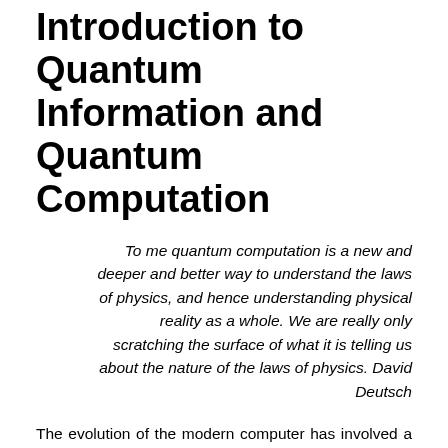Introduction to Quantum Information and Quantum Computation
To me quantum computation is a new and deeper and better way to understand the laws of physics, and hence understanding physical reality as a whole. We are really only scratching the surface of what it is telling us about the nature of the laws of physics. David Deutsch
The evolution of the modern computer has involved a series of changes from one type of physical realization to another: from gears to relays to transistors to integrated circuits… Just 75 years ago, during the Second World War, Alan Turing decoded encrypted radio